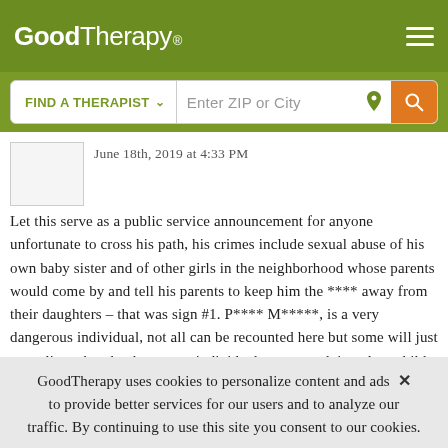GoodTherapy®
FIND A THERAPIST  ∨  Enter ZIP or City
June 18th, 2019 at 4:33 PM
Let this serve as a public service announcement for anyone unfortunate to cross his path, his crimes include sexual abuse of his own baby sister and of other girls in the neighborhood whose parents would come by and tell his parents to keep him the **** away from their daughters – that was sign #1. P**** M*****, is a very dangerous individual, not all can be recounted here but some will just to outline what the dangerous individuals start out doing; As a child he was violent, killed small animals, destroyed anything
GoodTherapy uses cookies to personalize content and ads × to provide better services for our users and to analyze our traffic. By continuing to use this site you consent to our cookies.